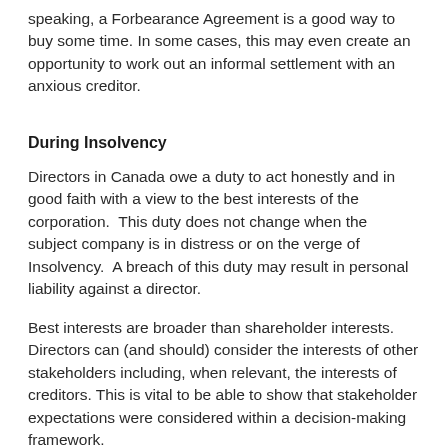speaking, a Forbearance Agreement is a good way to buy some time. In some cases, this may even create an opportunity to work out an informal settlement with an anxious creditor.
During Insolvency
Directors in Canada owe a duty to act honestly and in good faith with a view to the best interests of the corporation.  This duty does not change when the subject company is in distress or on the verge of Insolvency.  A breach of this duty may result in personal liability against a director.
Best interests are broader than shareholder interests.  Directors can (and should) consider the interests of other stakeholders including, when relevant, the interests of creditors. This is vital to be able to show that stakeholder expectations were considered within a decision-making framework.
In times of distress like insolvency, the board and director's